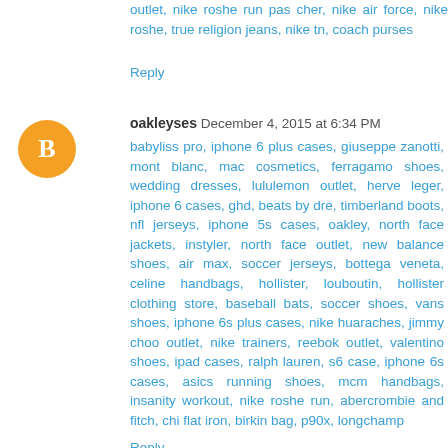outlet, nike roshe run pas cher, nike air force, nike roshe, true religion jeans, nike tn, coach purses
Reply
oakleyses December 4, 2015 at 6:34 PM
babyliss pro, iphone 6 plus cases, giuseppe zanotti, mont blanc, mac cosmetics, ferragamo shoes, wedding dresses, lululemon outlet, herve leger, iphone 6 cases, ghd, beats by dre, timberland boots, nfl jerseys, iphone 5s cases, oakley, north face jackets, instyler, north face outlet, new balance shoes, air max, soccer jerseys, bottega veneta, celine handbags, hollister, louboutin, hollister clothing store, baseball bats, soccer shoes, vans shoes, iphone 6s plus cases, nike huaraches, jimmy choo outlet, nike trainers, reebok outlet, valentino shoes, ipad cases, ralph lauren, s6 case, iphone 6s cases, asics running shoes, mcm handbags, insanity workout, nike roshe run, abercrombie and fitch, chi flat iron, birkin bag, p90x, longchamp
Reply